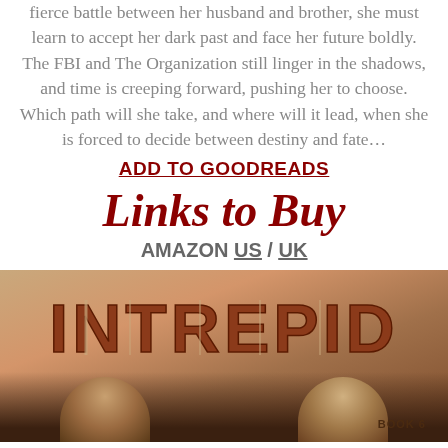fierce battle between her husband and brother, she must learn to accept her dark past and face her future boldly. The FBI and The Organization still linger in the shadows, and time is creeping forward, pushing her to choose. Which path will she take, and where will it lead, when she is forced to decide between destiny and fate…
ADD TO GOODREADS
Links to Buy
AMAZON US / UK
[Figure (photo): Book cover image for INTREPID Book 6, showing stylized rust-colored text on a warm tan/desert background with silhouettes of two people's heads at the bottom]